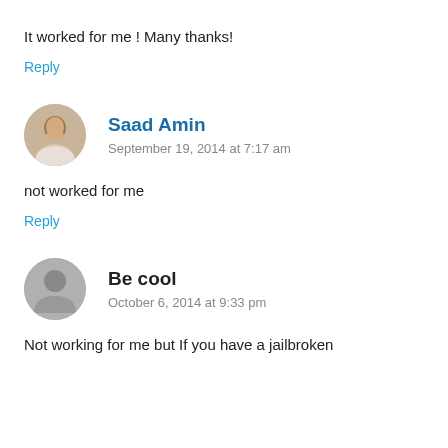It worked for me ! Many thanks!
Reply
Saad Amin
September 19, 2014 at 7:17 am
not worked for me
Reply
Be cool
October 6, 2014 at 9:33 pm
Not working for me but If you have a jailbroken